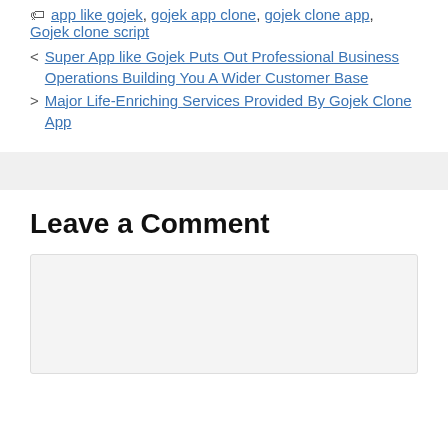Tags: app like gojek, gojek app clone, gojek clone app, Gojek clone script
< Super App like Gojek Puts Out Professional Business Operations Building You A Wider Customer Base
> Major Life-Enriching Services Provided By Gojek Clone App
Leave a Comment